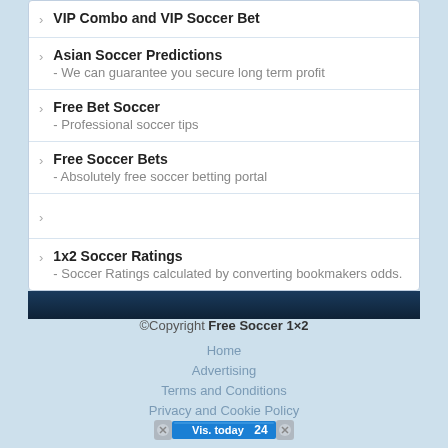VIP Combo and VIP Soccer Bet
Asian Soccer Predictions - We can guarantee you secure long term profit
Free Bet Soccer - Professional soccer tips
Free Soccer Bets - Absolutely free soccer betting portal
1x2 Soccer Ratings - Soccer Ratings calculated by converting bookmakers odds.
©Copyright Free Soccer 1×2
Home
Advertising
Terms and Conditions
Privacy and Cookie Policy
Contact Us
[Figure (infographic): Vis. today counter badge showing 24 visitors]